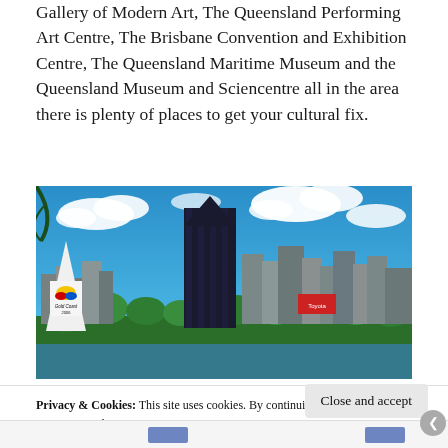Gallery of Modern Art, The Queensland Performing Art Centre, The Brisbane Convention and Exhibition Centre, The Queensland Maritime Museum and the Queensland Museum and Sciencentre all in the area there is plenty of places to get your cultural fix.
[Figure (photo): Cityscape photo showing Brisbane skyline with a tall dark glass skyscraper in the center, other buildings, blue sky with clouds, and a Gold Coast 2006 Commonwealth Games monument/statue in the foreground left.]
Privacy & Cookies: This site uses cookies. By continuing to use this website, you agree to their use.
To find out more, including how to control cookies, see here: Cookie Policy
Close and accept